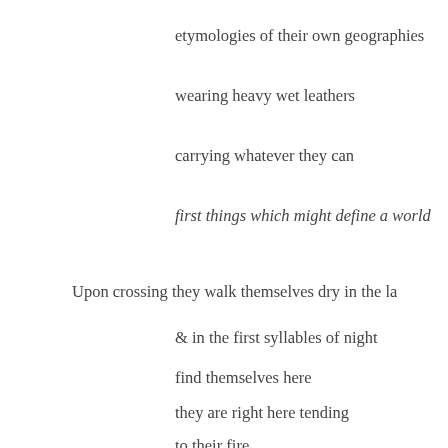etymologies of their own geographies
wearing heavy wet leathers
carrying whatever they can
first things which might define a world
Upon crossing they walk themselves dry in the la
& in the first syllables of night
find themselves here
they are right here tending
to their fire